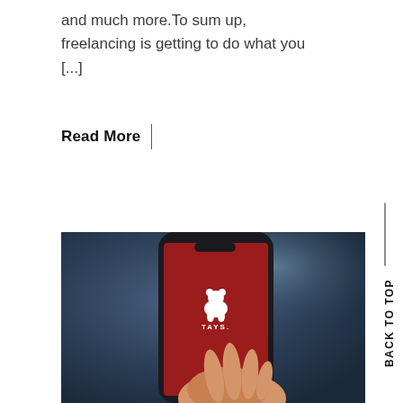and much more.To sum up, freelancing is getting to do what you [...]
Read More |
[Figure (photo): A hand holding a smartphone displaying a dark red/crimson screen with the TAYS logo (a white bear icon and text) in the center. The background is a blurred dark blue setting.]
Back To Top